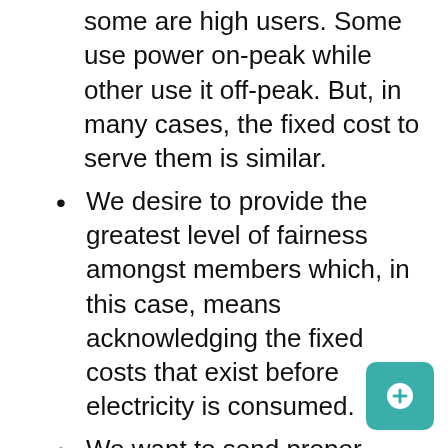some are high users. Some use power on-peak while other use it off-peak. But, in many cases, the fixed cost to serve them is similar.
We desire to provide the greatest level of fairness amongst members which, in this case, means acknowledging the fixed costs that exist before electricity is consumed.
We want to send proper pricing signals to members as our industry changes. Members can invest in technology that can: reduce energy (kWh) consumption, shave their peak (KW), generate their own power (DG), or even store power (batteries). To help members make the best long...